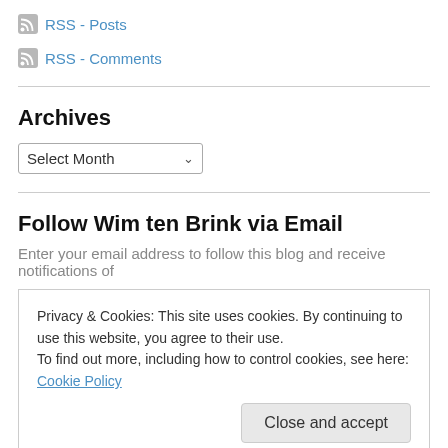RSS - Posts
RSS - Comments
Archives
Select Month
Follow Wim ten Brink via Email
Enter your email address to follow this blog and receive notifications of
Privacy & Cookies: This site uses cookies. By continuing to use this website, you agree to their use.
To find out more, including how to control cookies, see here: Cookie Policy
Close and accept
Join 229 other followers